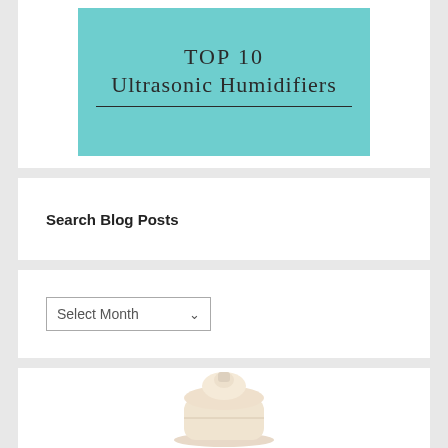[Figure (illustration): Teal/mint colored banner with text 'TOP 10 Ultrasonic Humidifiers' and a horizontal line underneath]
Search Blog Posts
[Figure (screenshot): A dropdown select box labeled 'Select Month' with a chevron/caret arrow on the right]
[Figure (photo): Partial view of a white/beige ultrasonic humidifier product at the bottom of the card]